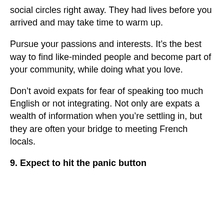social circles right away. They had lives before you arrived and may take time to warm up.
Pursue your passions and interests. It’s the best way to find like-minded people and become part of your community, while doing what you love.
Don’t avoid expats for fear of speaking too much English or not integrating. Not only are expats a wealth of information when you’re settling in, but they are often your bridge to meeting French locals.
9. Expect to hit the panic button